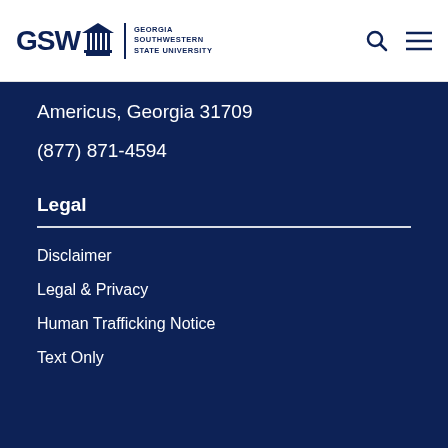[Figure (logo): Georgia Southwestern State University (GSW) logo with building icon and text]
Americus, Georgia 31709
(877) 871-4594
Legal
Disclaimer
Legal & Privacy
Human Trafficking Notice
Text Only